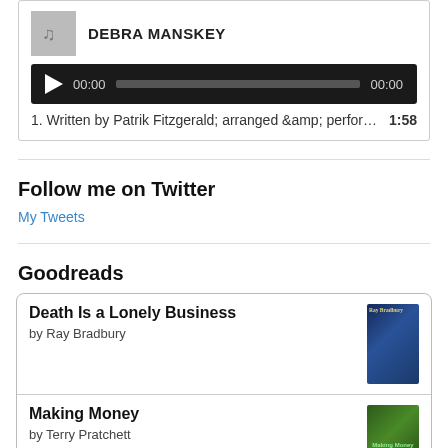[Figure (screenshot): Music player widget showing artist DEBRA MANSKEY with audio player bar showing 00:00 timestamps]
1. Written by Patrik Fitzgerald; arranged &amp; perfor…  1:58
Follow me on Twitter
My Tweets
Goodreads
Death Is a Lonely Business
by Ray Bradbury
Making Money
by Terry Pratchett